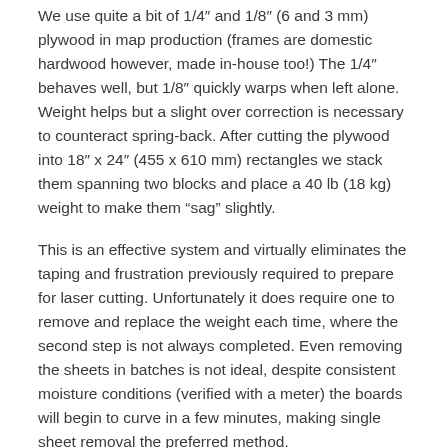We use quite a bit of 1/4" and 1/8" (6 and 3 mm) plywood in map production (frames are domestic hardwood however, made in-house too!) The 1/4" behaves well, but 1/8" quickly warps when left alone. Weight helps but a slight over correction is necessary to counteract spring-back. After cutting the plywood into 18" x 24" (455 x 610 mm) rectangles we stack them spanning two blocks and place a 40 lb (18 kg) weight to make them “sag” slightly.
This is an effective system and virtually eliminates the taping and frustration previously required to prepare for laser cutting. Unfortunately it does require one to remove and replace the weight each time, where the second step is not always completed. Even removing the sheets in batches is not ideal, despite consistent moisture conditions (verified with a meter) the boards will begin to curve in a few minutes, making single sheet removal the preferred method.
All this brings me to the ideal solution: a weighted counter